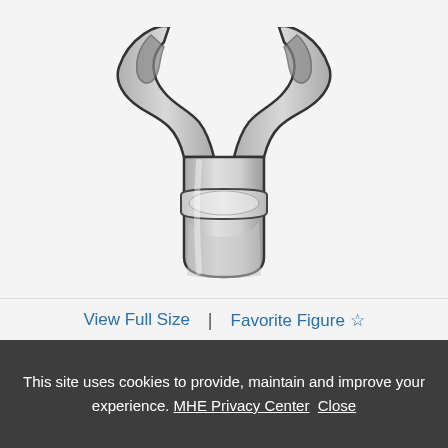[Figure (illustration): Medical illustration of venous anatomy showing a Y-shaped vessel bifurcation (veins splitting upward) with a lower tubular vessel segment. Grayscale shading with dark outlines on light gray background.]
Source: Raymond E. Phillips: Venous Insufficiency Copyright © McGraw Hill. All rights reserved.
View Full Size | Favorite Figure ☆
This site uses cookies to provide, maintain and improve your experience. MHE Privacy Center Close